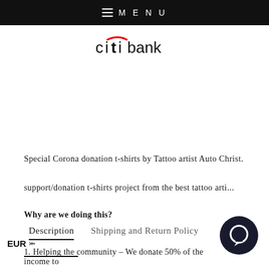≡ MENU
[Figure (logo): Citibank logo with stylized arc over letter i]
Description | Shipping and Return Policy
Special Corona donation t-shirts by Tattoo artist Auto Christ.
support/donation t-shirts project from the best tattoo arti...
Why are we doing this?
1. Helping the community – We donate 50% of the income to